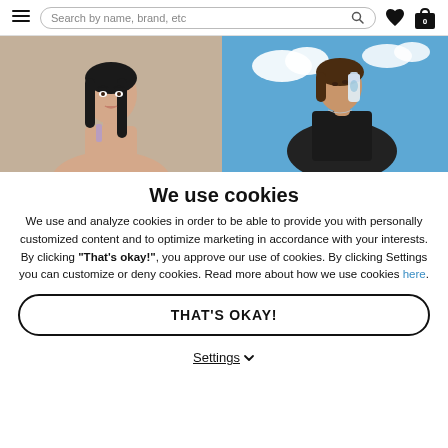Search by name, brand, etc
[Figure (photo): Photo of a young woman with long dark hair against a beige/tan background, wearing a light purple strap top]
[Figure (photo): Photo of a young woman drinking from a water bottle against a blue sky with clouds, wearing a black top]
We use cookies
We use and analyze cookies in order to be able to provide you with personally customized content and to optimize marketing in accordance with your interests. By clicking "That's okay!", you approve our use of cookies. By clicking Settings you can customize or deny cookies. Read more about how we use cookies here.
THAT'S OKAY!
Settings